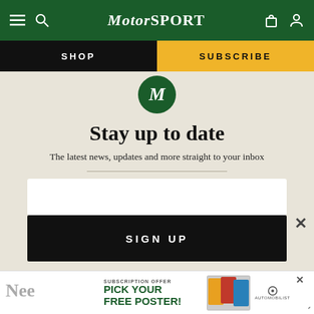Motor Sport
SHOP
SUBSCRIBE
Stay up to date
The latest news, updates and more straight to your inbox
SIGN UP
SUBSCRIPTION OFFER PICK YOUR FREE POSTER!
Nee